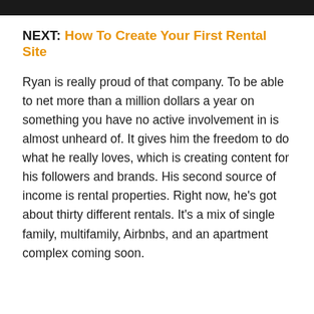NEXT: How To Create Your First Rental Site
Ryan is really proud of that company. To be able to net more than a million dollars a year on something you have no active involvement in is almost unheard of. It gives him the freedom to do what he really loves, which is creating content for his followers and brands. His second source of income is rental properties. Right now, he’s got about thirty different rentals. It’s a mix of single family, multifamily, Airbnbs, and an apartment complex coming soon.